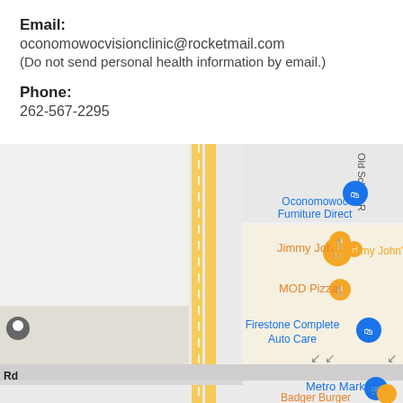Email:
oconomowocvisionclinic@rocketmail.com
(Do not send personal health information by email.)
Phone:
262-567-2295
[Figure (map): Google Maps screenshot showing Oconomowoc area with landmarks: Jimmy John's, MOD Pizza, Firestone Complete Auto Care, Oconomowoc Furniture Direct, Metro Market, Badger Burger Company Oconomowoc, Valley Rd, Old School Rd]